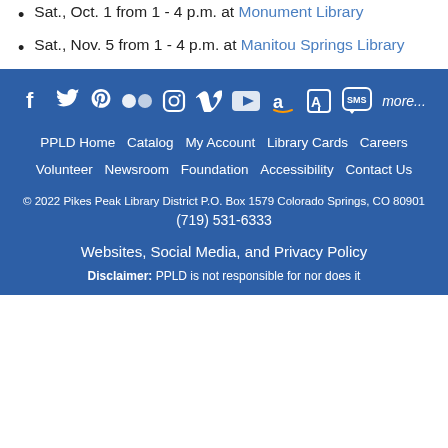Sat., Oct. 1 from 1 - 4 p.m. at Monument Library
Sat., Nov. 5 from 1 - 4 p.m. at Manitou Springs Library
[Figure (infographic): Social media icons row: Facebook, Twitter, Pinterest, Flickr, Instagram, Vimeo, YouTube, Amazon, a custom icon, SMS icon, and 'more...' text]
PPLD Home  Catalog  My Account  Library Cards  Careers  Volunteer  Newsroom  Foundation  Accessibility  Contact Us
© 2022 Pikes Peak Library District P.O. Box 1579 Colorado Springs, CO 80901
(719) 531-6333
Websites, Social Media, and Privacy Policy
Disclaimer: PPLD is not responsible for nor does it